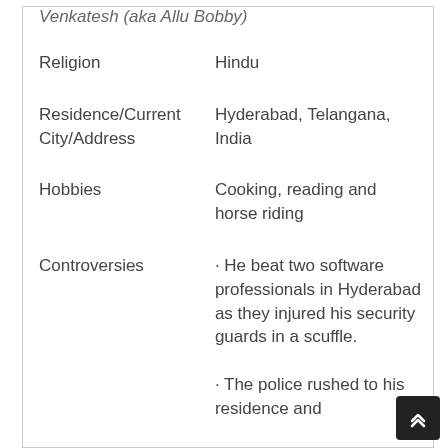Venkatesh (aka Allu Bobby)
| Field | Value |
| --- | --- |
| Religion | Hindu |
| Residence/Current City/Address | Hyderabad, Telangana, India |
| Hobbies | Cooking, reading and horse riding |
| Controversies | · He beat two software professionals in Hyderabad as they injured his security guards in a scuffle.

· The police rushed to his residence and |